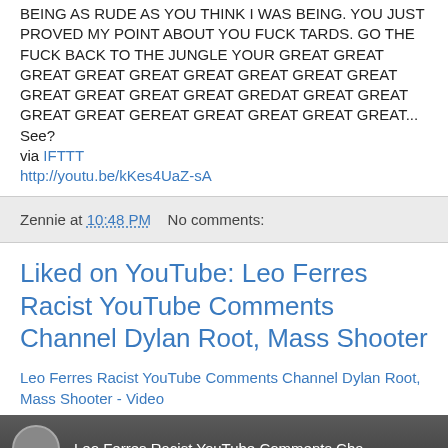BEING AS RUDE AS YOU THINK I WAS BEING. YOU JUST PROVED MY POINT ABOUT YOU FUCK TARDS. GO THE FUCK BACK TO THE JUNGLE YOUR GREAT GREAT GREAT GREAT GREAT GREAT GREAT GREAT GREAT GREAT GREAT GREAT GREAT GREDAT GREAT GREAT GREAT GREAT GREAT GEREAT GREAT GREAT GREAT GREAT... See? via IFTTT http://youtu.be/kKes4UaZ-sA
Zennie at 10:48 PM    No comments:
Liked on YouTube: Leo Ferres Racist YouTube Comments Channel Dylan Root, Mass Shooter
Leo Ferres Racist YouTube Comments Channel Dylan Root, Mass Shooter - Video
[Figure (screenshot): Video thumbnail showing a person in dark attire with text overlay 'Leo Ferres Racist YouTube Comments Cha...' on a dark background with a small avatar circle on the left.]